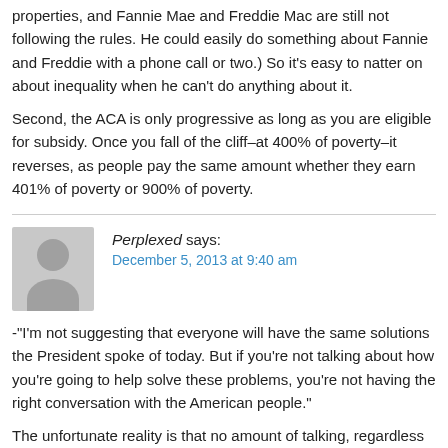properties, and Fannie Mae and Freddie Mac are still not following the rules. He could easily do something about Fannie and Freddie with a phone call or two.) So it's easy to natter on about inequality when he can't do anything about it.
Second, the ACA is only progressive as long as you are eligible for subsidy. Once you fall of the cliff–at 400% of poverty–it reverses, as people pay the same amount whether they earn 401% of poverty or 900% of poverty.
Perplexed says:
December 5, 2013 at 9:40 am
-"I'm not suggesting that everyone will have the same solutions the President spoke of today. But if you're not talking about how you're going to help solve these problems, you're not having the right conversation with the American people."
The unfortunate reality is that no amount of talking, regardless of who's doing it, will alter the incentives of the